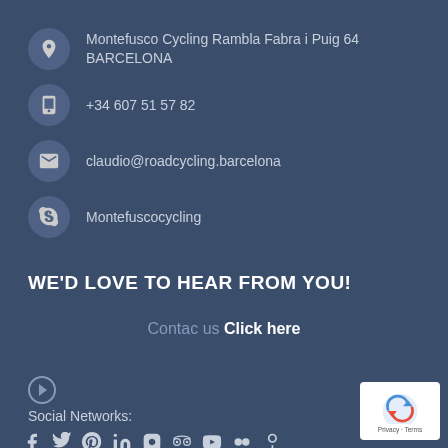Montefusco Cycling Rambla Fabra i Puig 64 BARCELONA
+34 607 51 57 82
claudio@roadcycling.barcelona
Montefuscocycling
WE'D LOVE TO HEAR FROM YOU!
Contac us Click here
[Figure (other): Arrow icon circle]
Social Networks:
[Figure (other): Social network icons: Facebook, Twitter, Pinterest, LinkedIn, Instagram, TripAdvisor, YouTube, Flickr, Yelp]
[Figure (logo): reCAPTCHA badge with Privacy and Terms links]